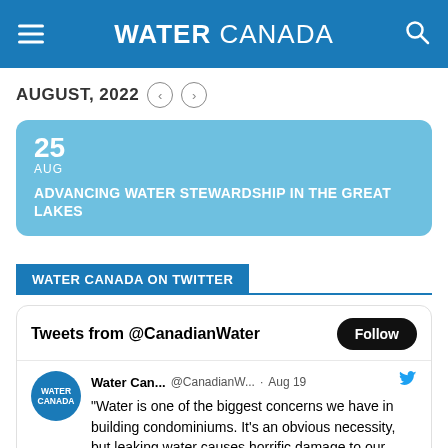WATER CANADA
AUGUST, 2022
25 AUG ADVANCING WATER STEWARDSHIP IN THE GREAT LAKES
WATER CANADA ON TWITTER
Tweets from @CanadianWater
Water Can... @CanadianW... · Aug 19 — "Water is one of the biggest concerns we have in building condominiums. It's an obvious necessity, but leaking water causes horrific damage to our buildings, and we need to take